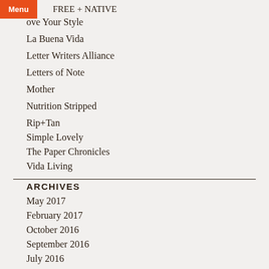FREE + NATIVE
ove Your Style
La Buena Vida
Letter Writers Alliance
Letters of Note
Mother
Nutrition Stripped
Rip+Tan
Simple Lovely
The Paper Chronicles
Vida Living
ARCHIVES
May 2017
February 2017
October 2016
September 2016
July 2016
March 2016
February 2016
January 2016